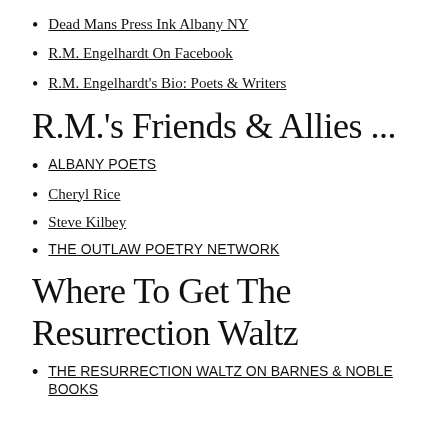Dead Mans Press Ink Albany NY
R.M. Engelhardt On Facebook
R.M. Engelhardt's Bio: Poets & Writers
R.M.'s Friends & Allies ...
ALBANY POETS
Cheryl Rice
Steve Kilbey
THE OUTLAW POETRY NETWORK
Where To Get The Resurrection Waltz
THE RESURRECTION WALTZ ON BARNES & NOBLE BOOKS